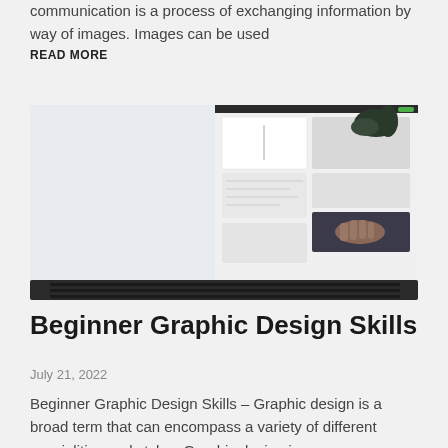communication is a process of exchanging information by way of images. Images can be used
READ MORE
[Figure (photo): Laptop computer displaying a design or mood board interface with grid layout of images and content, with a plant visible in the top right corner]
Beginner Graphic Design Skills
July 21, 2022
Beginner Graphic Design Skills – Graphic design is a broad term that can encompass a variety of different specialities and styles. Graphic design is a